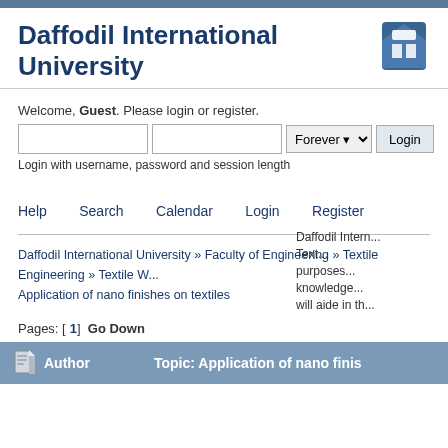Daffodil International University
Welcome, Guest. Please login or register.
Login with username, password and session length
Daffodil International University Textile purposes knowledge will aide in th
Help   Search   Calendar   Login   Register
Daffodil International University » Faculty of Engineering » Textile Engineering » Textile W Application of nano finishes on textiles
Pages: [1]  Go Down
Author   Topic: Application of nano finis